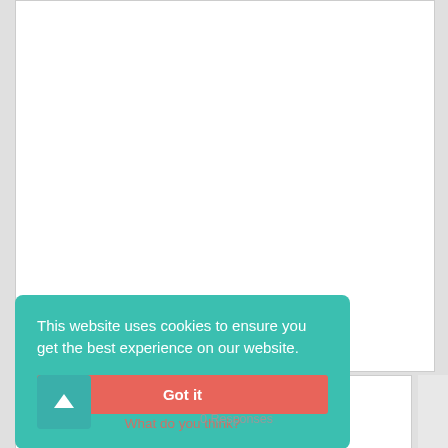[Figure (screenshot): White content area (main page body, mostly blank/scrolled past content)]
This website uses cookies to ensure you get the best experience on our website.
Got it
What do you think?
0 Responses